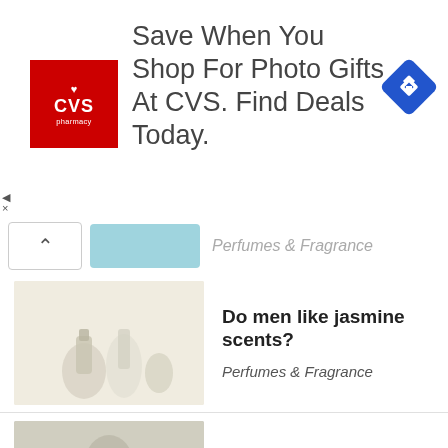[Figure (screenshot): CVS Pharmacy advertisement banner: Save When You Shop For Photo Gifts At CVS. Find Deals Today.]
Perfumes & Fragrance
Do men like jasmine scents?
Perfumes & Fragrance
Who owns the L.A.M.B. brand?
Perfumes & Fragrance
Why is Sauvage Dior so popular?
Perfumes & Fragrance